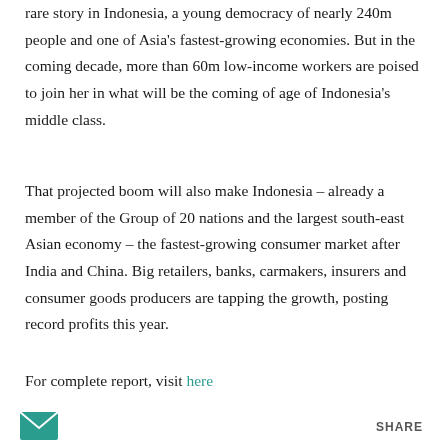rare story in Indonesia, a young democracy of nearly 240m people and one of Asia's fastest-growing economies. But in the coming decade, more than 60m low-income workers are poised to join her in what will be the coming of age of Indonesia's middle class.
That projected boom will also make Indonesia – already a member of the Group of 20 nations and the largest south-east Asian economy – the fastest-growing consumer market after India and China. Big retailers, banks, carmakers, insurers and consumer goods producers are tapping the growth, posting record profits this year.
For complete report, visit here